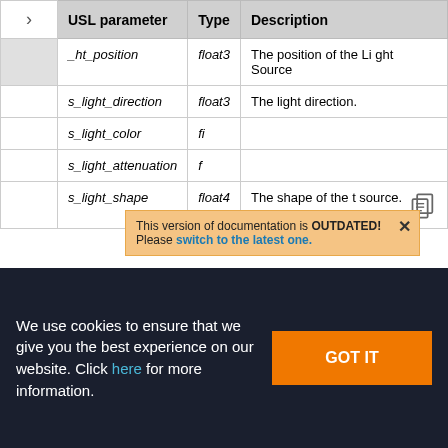|  | USL parameter | Type | Description |
| --- | --- | --- | --- |
|  | _ht_position | float3 | The position of the Light Source |
|  | s_light_direction | float3 | The light direction. |
|  | s_light_color | f... |  |
|  | s_light_attenuation | f... |  |
|  | s_light_shape | float4 | The shape of the t source. |
This version of documentation is OUTDATED! Please switch to the latest one.
We use cookies to ensure that we give you the best experience on our website. Click here for more information.